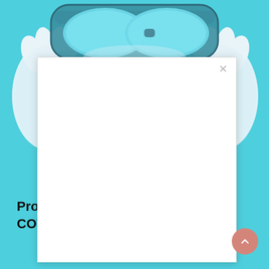[Figure (photo): Background photo of medical/PPE equipment on light blue background: person wearing safety goggles and green/white respirator mask, with white latex gloves visible on either side. The image is partially obscured by a white modal dialog overlay in the center.]
Pro[tecting yourself from]
COV[ID-19]
[Figure (other): White modal dialog box with a close (X) button in the top-right corner. The modal interior is blank/white, overlaying the background PPE image.]
[Figure (other): Scroll-to-top button: pink/salmon circular button with an upward-pointing caret (^) symbol in the bottom-right corner of the page.]